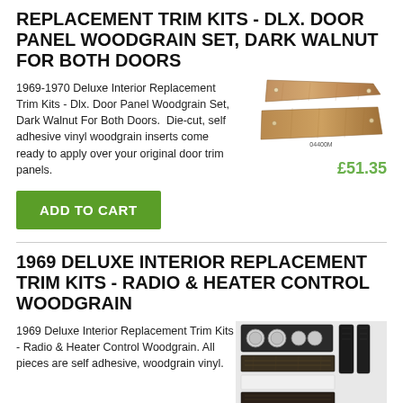REPLACEMENT TRIM KITS - DLX. DOOR PANEL WOODGRAIN SET, DARK WALNUT FOR BOTH DOORS
1969-1970 Deluxe Interior Replacement Trim Kits - Dlx. Door Panel Woodgrain Set, Dark Walnut For Both Doors.  Die-cut, self adhesive vinyl woodgrain inserts come ready to apply over your original door trim panels.
[Figure (photo): Two woodgrain door panel trim pieces in dark walnut finish, part code 04400M]
£51.35
ADD TO CART
1969 DELUXE INTERIOR REPLACEMENT TRIM KITS - RADIO & HEATER CONTROL WOODGRAIN
1969 Deluxe Interior Replacement Trim Kits - Radio & Heater Control Woodgrain. All pieces are self adhesive, woodgrain vinyl.
[Figure (photo): Multiple radio and heater control woodgrain trim pieces laid out on white background]
£16.25